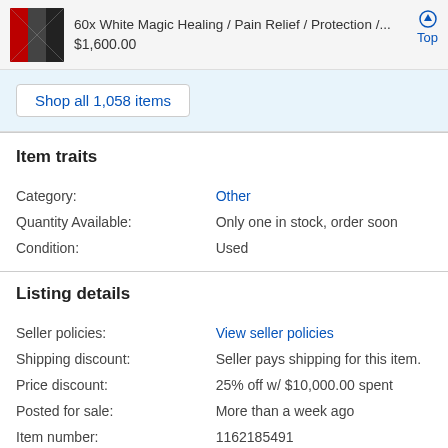60x White Magic Healing / Pain Relief / Protection /... $1,600.00 Top
Shop all 1,058 items
Item traits
|  |  |
| --- | --- |
| Category: | Other |
| Quantity Available: | Only one in stock, order soon |
| Condition: | Used |
Listing details
|  |  |
| --- | --- |
| Seller policies: | View seller policies |
| Shipping discount: | Seller pays shipping for this item. |
| Price discount: | 25% off w/ $10,000.00 spent |
| Posted for sale: | More than a week ago |
| Item number: | 1162185491 |
Item description